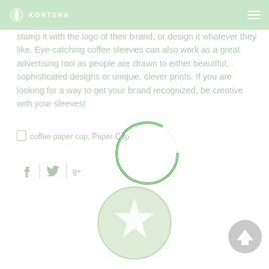KONTENA
stamp it with the logo of their brand, or design it whatever they like. Eye-catching coffee sleeves can also work as a great advertising tool as people are drawn to either beautiful, sophisticated designs or unique, clever prints. If you are looking for a way to get your brand recognized, be creative with your sleeves!
coffee paper cup, Paper Cup
[Figure (other): Loading spinner circle (green outline)]
[Figure (other): Social media share icons: Facebook, Twitter, Google+]
[Figure (logo): Star badge / rating icon with light green/grey tones]
[Figure (other): Back to top arrow button, circular grey]